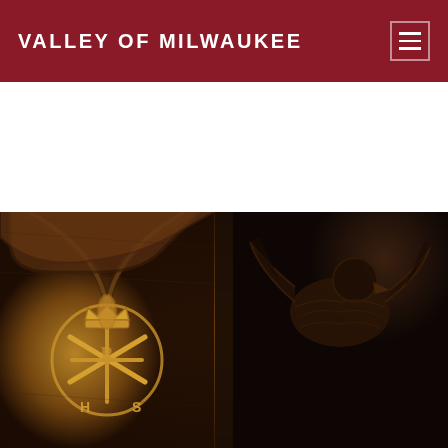VALLEY OF MILWAUKEE
[Figure (photo): Close-up photograph of ornate dark wood carving featuring a gold Masonic emblem with a crown, crossed tools (square and compasses), and decorative Gothic architectural details. An eagle or bird carving is visible in the upper right corner.]